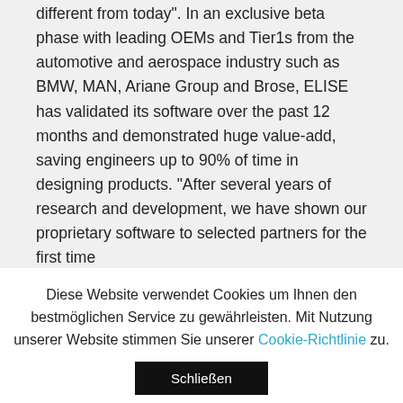different from today". In an exclusive beta phase with leading OEMs and Tier1s from the automotive and aerospace industry such as BMW, MAN, Ariane Group and Brose, ELISE has validated its software over the past 12 months and demonstrated huge value-add, saving engineers up to 90% of time in designing products. “After several years of research and development, we have shown our proprietary software to selected partners for the first time
Diese Website verwendet Cookies um Ihnen den bestmöglichen Service zu gewährleisten. Mit Nutzung unserer Website stimmen Sie unserer Cookie-Richtlinie zu.
Schließen